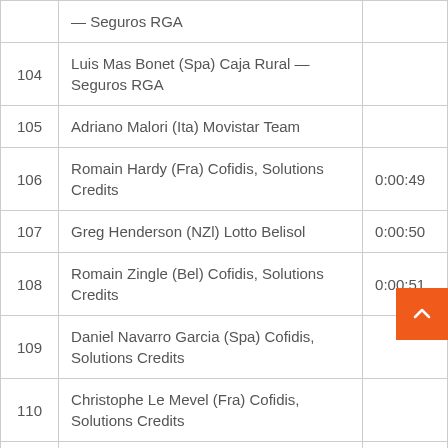| # | Rider | Time |
| --- | --- | --- |
|  | — Seguros RGA |  |
| 104 | Luis Mas Bonet (Spa) Caja Rural — Seguros RGA |  |
| 105 | Adriano Malori (Ita) Movistar Team |  |
| 106 | Romain Hardy (Fra) Cofidis, Solutions Credits | 0:00:49 |
| 107 | Greg Henderson (NZl) Lotto Belisol | 0:00:50 |
| 108 | Romain Zingle (Bel) Cofidis, Solutions Credits | 0:00:51 |
| 109 | Daniel Navarro Garcia (Spa) Cofidis, Solutions Credits |  |
| 110 | Christophe Le Mevel (Fra) Cofidis, Solutions Credits |  |
|  |  |  |